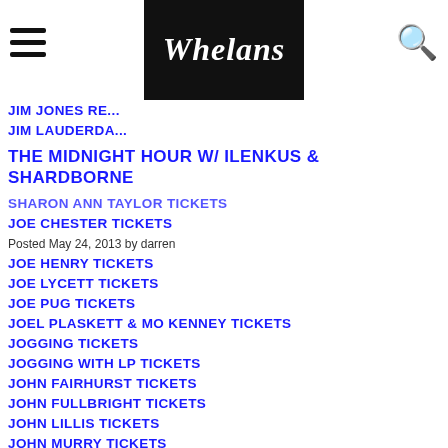Whelans - navigation header with hamburger menu and search icon
JIM JONES RE...
JIM LAUDERDA...
JIM GORDWE...
THE MIDNIGHT HOUR W/ ILENKUS & SHARDBORNE
SHARON ANN TAYLOR TICKETS
JOE CHESTER TICKETS
Posted May 24, 2013 by darren
JOE HENRY TICKETS
JOE LYCETT TICKETS
JOE PUG TICKETS
JOEL PLASKETT & MO KENNEY TICKETS
JOGGING TICKETS
JOGGING WITH LP TICKETS
JOHN FAIRHURST TICKETS
JOHN FULLBRIGHT TICKETS
JOHN LILLIS TICKETS
JOHN MURRY TICKETS
JOHN OATES TICKETS
JOHN SADLIER & FRIENDS TICKETS